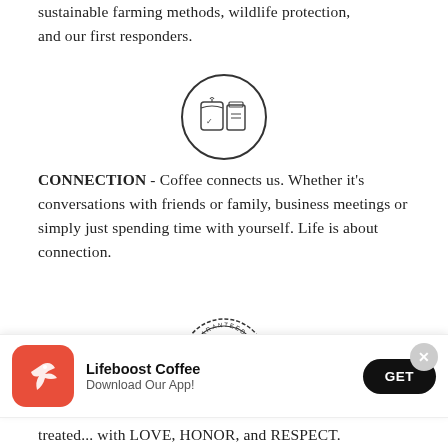sustainable farming methods, wildlife protection, and our first responders.
[Figure (illustration): Circle icon containing line-art images of a coffee bag and a cup/container]
CONNECTION - Coffee connects us. Whether it's conversations with friends or family, business meetings or simply just spending time with yourself. Life is about connection.
[Figure (logo): Lifeboost Coffee guaranteed stamp/seal logo with hummingbird in center]
[Figure (screenshot): App download banner for Lifeboost Coffee app with red icon, app name, Download Our App text, GET button, and X close button]
treated... with LOVE, HONOR, and RESPECT.